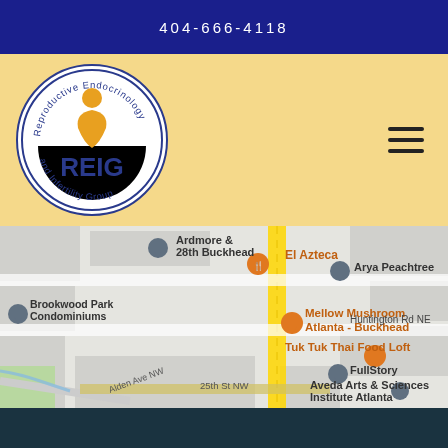404-666-4118
[Figure (logo): REIG - Reproductive Endocrinology and Infertility Group circular logo with blue border and orange figure graphic]
[Figure (map): Google Maps screenshot showing Buckhead Atlanta area with landmarks: Ardmore & 28th Buckhead, El Azteca, Arya Peachtree, Brookwood Park Condominiums, Mellow Mushroom Atlanta-Buckhead, Huntington Rd NE, Tuk Tuk Thai Food Loft, FullStory, Aveda Arts & Sciences Institute Atlanta, Alden Ave NW, 25th St NW]